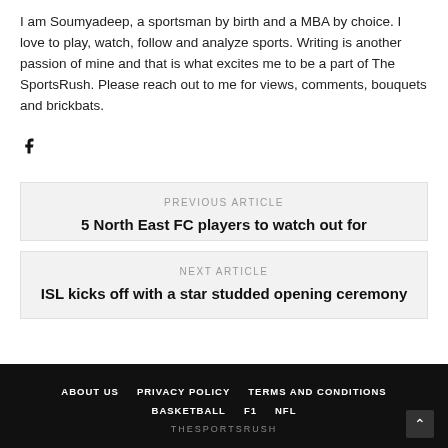I am Soumyadeep, a sportsman by birth and a MBA by choice. I love to play, watch, follow and analyze sports. Writing is another passion of mine and that is what excites me to be a part of The SportsRush. Please reach out to me for views, comments, bouquets and brickbats.
[Figure (illustration): Facebook icon (f logo)]
PREVIOUS ARTICLE
5 North East FC players to watch out for
NEXT ARTICLE
ISL kicks off with a star studded opening ceremony
ABOUT US  PRIVACY POLICY  TERMS AND CONDITIONS  BASKETBALL  F1  NFL  THESPORTSRUSH